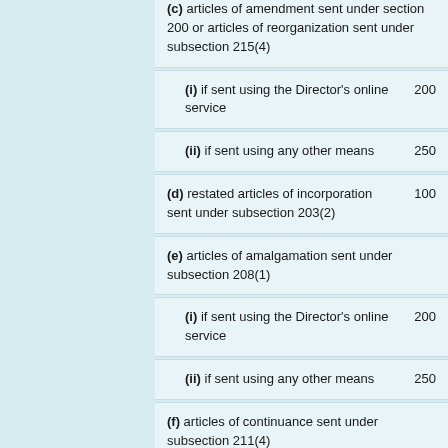(c) articles of amendment sent under section 200 or articles of reorganization sent under subsection 215(4)
(i) if sent using the Director’s online service  200
(ii) if sent using any other means  250
(d) restated articles of incorporation sent under subsection 203(2)  100
(e) articles of amalgamation sent under subsection 208(1)
(i) if sent using the Director’s online service  200
(ii) if sent using any other means  250
(f) articles of continuance sent under subsection 211(4)